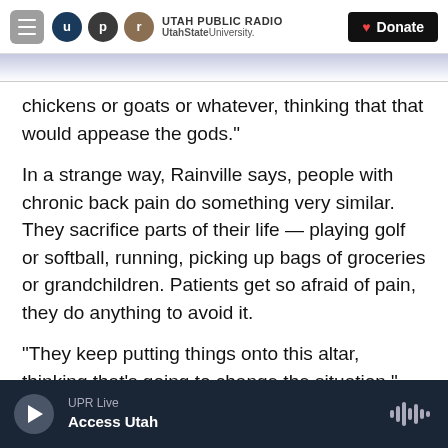Utah Public Radio — UtahState University | Donate
chickens or goats or whatever, thinking that that would appease the gods."
In a strange way, Rainville says, people with chronic back pain do something very similar. They sacrifice parts of their life — playing golf or softball, running, picking up bags of groceries or grandchildren. Patients get so afraid of pain, they do anything to avoid it.
"They keep putting things onto this altar, thinking that's going to change the situation," Rainville says.
UPR Live — Access Utah